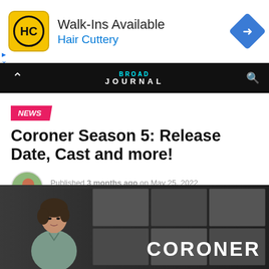[Figure (other): Hair Cuttery advertisement banner with yellow logo, 'Walk-Ins Available' headline and navigation arrow icon]
BROAD JOURNAL
NEWS
Coroner Season 5: Release Date, Cast and more!
Published 3 months ago on May 25, 2022
By Priyanka Nath
[Figure (photo): Promotional image for Coroner TV show — woman with short dark hair in scrubs in front of morgue lockers, with CORONER text overlay]